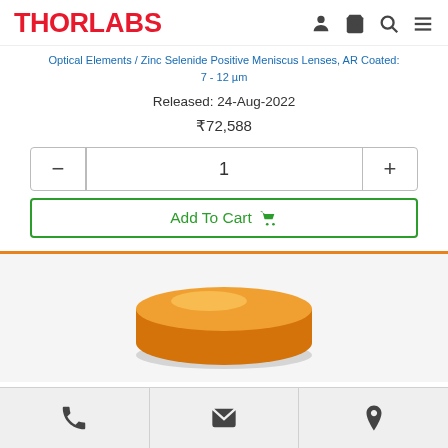THORLABS
Optical Elements / Zinc Selenide Positive Meniscus Lenses, AR Coated: 7 - 12 µm
Released: 24-Aug-2022
₹72,588
- 1 +
Add To Cart 🛒
[Figure (photo): Gold/amber colored zinc selenide positive meniscus lens, circular disc shape viewed at a slight angle showing its flat-ish form with an orange-gold coating]
Phone | Email | Location